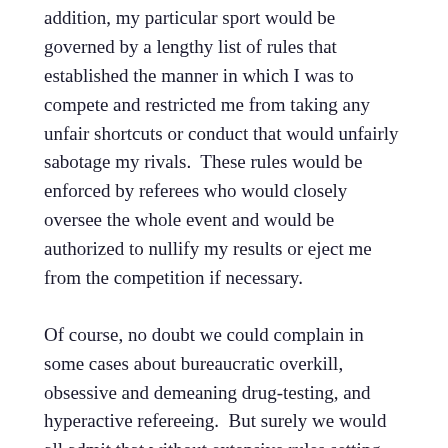addition, my particular sport would be governed by a lengthy list of rules that established the manner in which I was to compete and restricted me from taking any unfair shortcuts or conduct that would unfairly sabotage my rivals.  These rules would be enforced by referees who would closely oversee the whole event and would be authorized to nullify my results or eject me from the competition if necessary.
Of course, no doubt we could complain in some cases about bureaucratic overkill, obsessive and demeaning drug-testing, and hyperactive refereeing.  But surely we would all admit that without extensive rules setting both the terms of participation, the nature of the game, and the legitimate means that could be employed in competition, most of the organized sports that we love would be impossible.  If sprinters